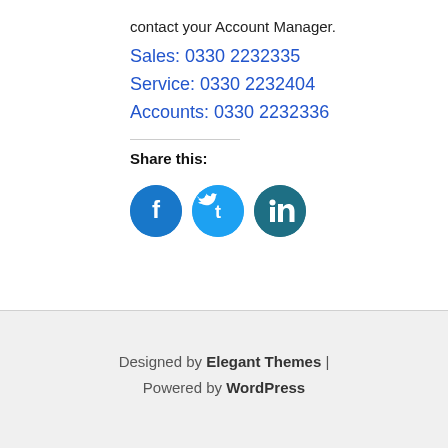contact your Account Manager.
Sales: 0330 2232335
Service: 0330 2232404
Accounts: 0330 2232336
Share this:
[Figure (illustration): Three circular social media share buttons: Facebook (dark blue), Twitter (light blue), LinkedIn (teal/dark cyan)]
Designed by Elegant Themes | Powered by WordPress